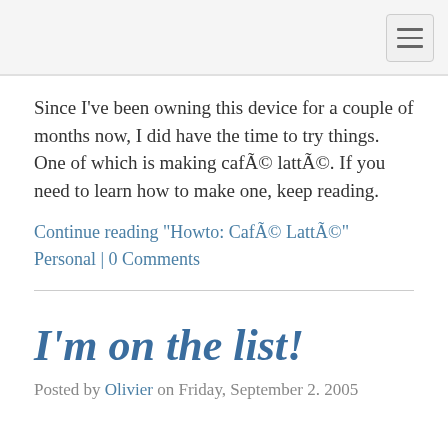Since I've been owning this device for a couple of months now, I did have the time to try things. One of which is making café latté. If you need to learn how to make one, keep reading.
Continue reading "Howto: Café Latté"
Personal | 0 Comments
I'm on the list!
Posted by Olivier on Friday, September 2. 2005